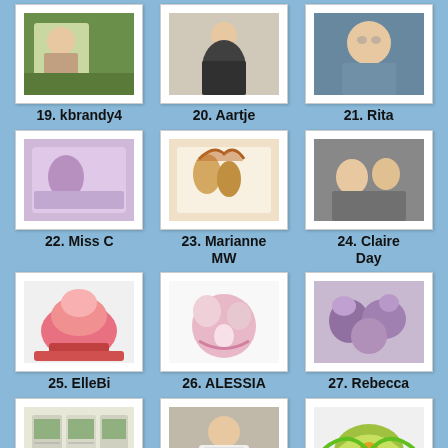[Figure (photo): Thumbnail photo for entry 19, kbrandy4 - person outdoors on grass]
19. kbrandy4
[Figure (photo): Thumbnail photo for entry 20, Aartje - person sitting cross-legged]
20. Aartje
[Figure (photo): Thumbnail photo for entry 21, Rita - older woman with glasses]
21. Rita
[Figure (photo): Thumbnail photo for entry 22, Miss C - craft card with purple illustration]
22. Miss C
[Figure (photo): Thumbnail photo for entry 23, Marianne MW - illustrated card with fairies]
23. Marianne MW
[Figure (photo): Thumbnail photo for entry 24, Claire Day - couple photo]
24. Claire Day
[Figure (photo): Thumbnail photo for entry 25, ElleBi - decorated cake]
25. ElleBi
[Figure (photo): Thumbnail photo for entry 26, ALESSIA - pink balloons arrangement]
26. ALESSIA
[Figure (photo): Thumbnail photo for entry 27, Rebecca - purple flower arrangement]
27. Rebecca
[Figure (photo): Thumbnail photo for entry 28, goldie - craft cards display]
28. goldie
[Figure (photo): Thumbnail photo for entry 29, suzanna - person standing outside]
29. suzanna
[Figure (photo): Thumbnail photo for entry 30, Leanne S - colorful butterfly craft]
30. Leanne S
[Figure (photo): Thumbnail photo for entry 31 - craft cards display]
[Figure (photo): Thumbnail photo for entry 32 - craft cards display]
[Figure (photo): Thumbnail photo for entry 33 - person with glasses]